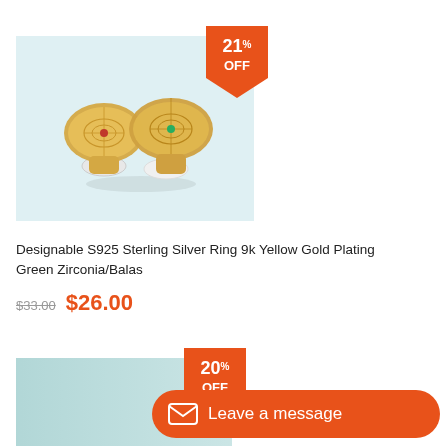[Figure (photo): Gold filigree ring with gemstone center on light blue background, with orange 21% OFF badge]
Designable S925 Sterling Silver Ring 9k Yellow Gold Plating Green Zirconia/Balas
$33.00  $26.00
[Figure (photo): Partial product image on teal/mint background with orange 20% OFF badge]
Leave a message